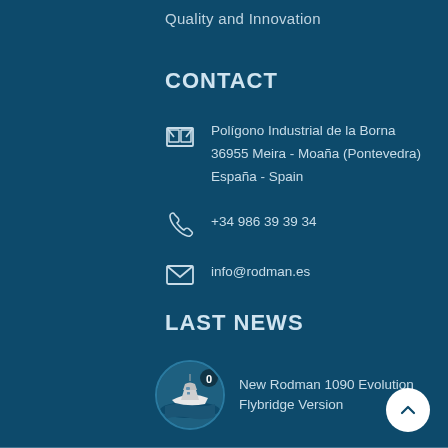Quality and Innovation
CONTACT
Polígono Industrial de la Borna
36955 Meira - Moaña (Pontevedra)
España - Spain
+34 986 39 39 34
info@rodman.es
LAST NEWS
New Rodman 1090 Evolution Flybridge Version
[Figure (photo): Circular thumbnail image of a white motor yacht on water]